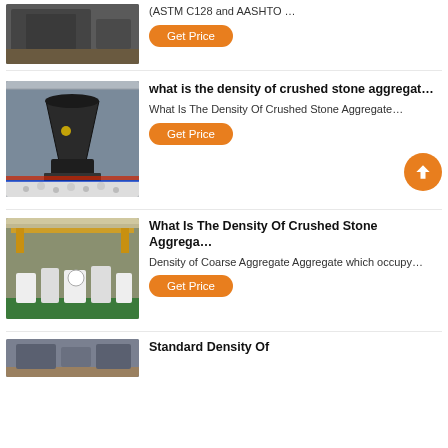[Figure (photo): Industrial machine/equipment in a factory setting]
(ASTM C128 and AASHTO …
Get Price
[Figure (photo): Large cone crusher machine in industrial facility]
what is the density of crushed stone aggregat…
What Is The Density Of Crushed Stone Aggregate…
Get Price
[Figure (photo): Factory interior with multiple machines]
What Is The Density Of Crushed Stone Aggrega…
Density of Coarse Aggregate Aggregate which occupy…
Get Price
[Figure (photo): Partial view of industrial/quarry equipment]
Standard Density Of